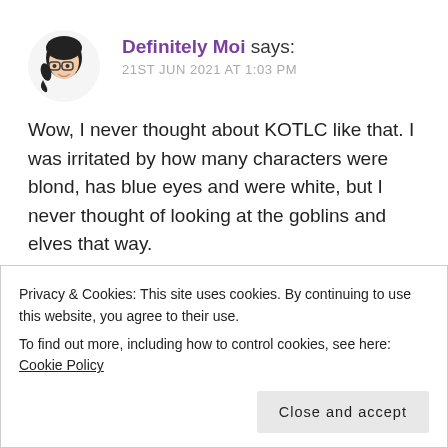[Figure (illustration): Cartoon avatar of a person with dark hair and glasses]
Definitely Moi says:
21ST JUN 2021 AT 1:03 PM
Wow, I never thought about KOTLC like that. I was irritated by how many characters were blond, has blue eyes and were white, but I never thought of looking at the goblins and elves that way.
Great post, Maya! The Hate U Give has been on my TBR list for way too long!
Privacy & Cookies: This site uses cookies. By continuing to use this website, you agree to their use.
To find out more, including how to control cookies, see here: Cookie Policy